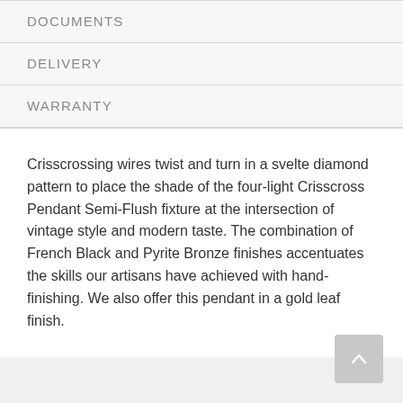DOCUMENTS
DELIVERY
WARRANTY
Crisscrossing wires twist and turn in a svelte diamond pattern to place the shade of the four-light Crisscross Pendant Semi-Flush fixture at the intersection of vintage style and modern taste. The combination of French Black and Pyrite Bronze finishes accentuates the skills our artisans have achieved with hand-finishing. We also offer this pendant in a gold leaf finish.